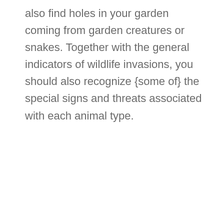also find holes in your garden coming from garden creatures or snakes. Together with the general indicators of wildlife invasions, you should also recognize {some of} the special signs and threats associated with each animal type.